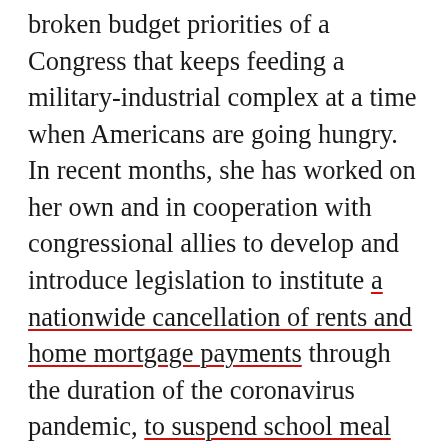systemic racism, a climate crisis, and the broken budget priorities of a Congress that keeps feeding a military-industrial complex at a time when Americans are going hungry. In recent months, she has worked on her own and in cooperation with congressional allies to develop and introduce legislation to institute a nationwide cancellation of rents and home mortgage payments through the duration of the coronavirus pandemic, to suspend school meal debt, to establish a federal agency responsible for investigating all nationwide deaths occurring in police custody, and to amend the Insurrection Act so that it can't be abused by presidents for political purposes.